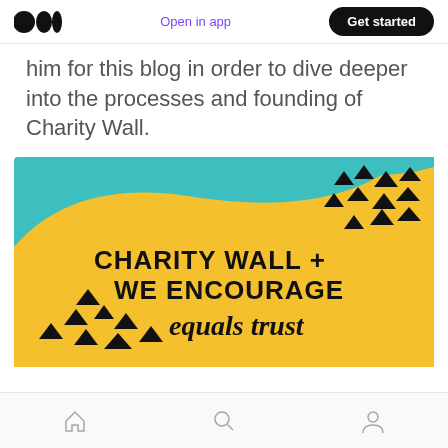Open in app | Get started
him for this blog in order to dive deeper into the processes and founding of Charity Wall.
[Figure (illustration): Promotional banner image with teal and yellow/gold background featuring abstract shapes and scattered arrow/triangle icons. Text reads: CHARITY WALL + WE ENCOURAGE equals trust]
Bottom navigation bar with home, search, and profile icons